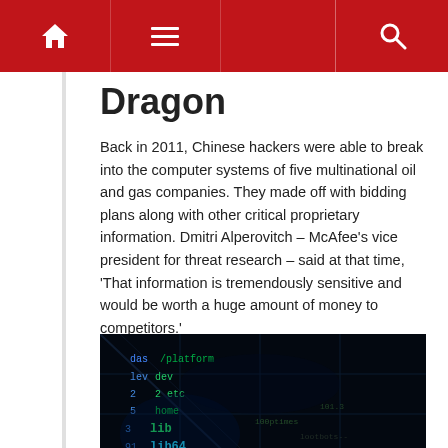Navigation bar with home, menu, and search icons
Dragon
Back in 2011, Chinese hackers were able to break into the computer systems of five multinational oil and gas companies. They made off with bidding plans along with other critical proprietary information. Dmitri Alperovitch – McAfee's vice president for threat research – said at that time, 'That information is tremendously sensitive and would be worth a huge amount of money to competitors.'
[Figure (photo): Dark hacking/cybersecurity themed image showing terminal/command line text in blue and green on a black background with circuit-like overlays]